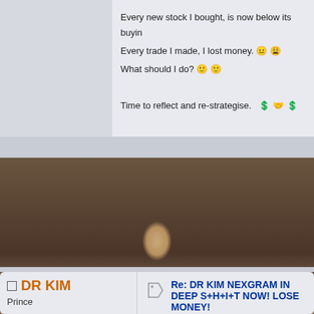Every new stock I bought, is now below its buying price.
Every trade I made, I lost money. 😐 😩
What should I do? 🙂 🙂
Time to reflect and re-strategise. 💲 🤝 💲
ahbah
Duke
Posts: 30,596
You got like my 2 best friends ?
Re: DR KIM NEXGRAM IN DEEP S+H+I+T NOW! LOSE MONEY!
« Reply #208 on: June 07, 2017, 02:33:52 PM »
The investing style of Value Investing Fa
DR KIM
Prince
Re: DR KIM NEXGRAM IN DEEP S+H+I+T NOW! LOSE MONEY!